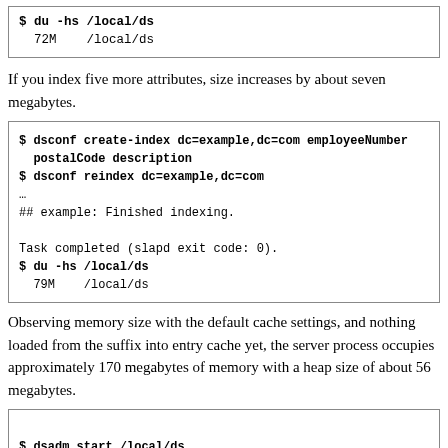[Figure (screenshot): Code box showing: $ du -hs /local/ds
  72M    /local/ds]
If you index five more attributes, size increases by about seven megabytes.
[Figure (screenshot): Code box showing dsconf create-index, dsconf reindex, indexing output, and du -hs showing 79M /local/ds]
Observing memory size with the default cache settings, and nothing loaded from the suffix into entry cache yet, the server process occupies approximately 170 megabytes of memory with a heap size of about 56 megabytes.
[Figure (screenshot): Code box showing beginning of dsadm start /local/ds command]